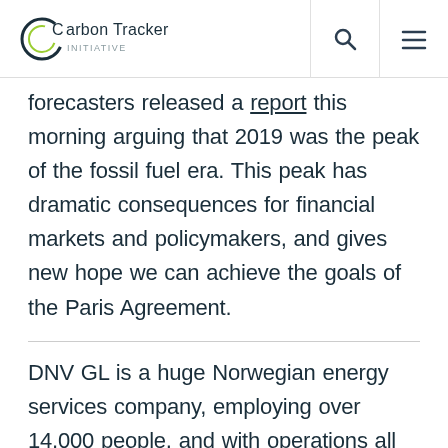Carbon Tracker
forecasters released a report this morning arguing that 2019 was the peak of the fossil fuel era. This peak has dramatic consequences for financial markets and policymakers, and gives new hope we can achieve the goals of the Paris Agreement.
DNV GL is a huge Norwegian energy services company, employing over 14,000 people, and with operations all over the